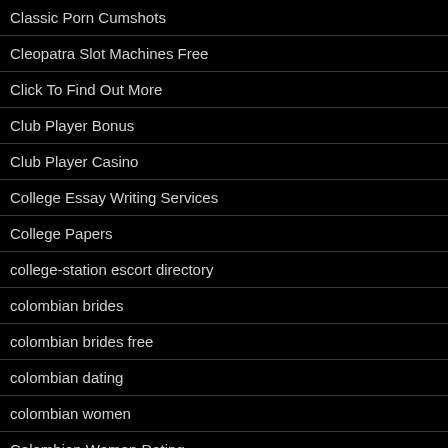Classic Porn Cumshots
Cleopatra Slot Machines Free
Click To Find Out More
Club Player Bonus
Club Player Casino
College Essay Writing Services
College Papers
college-station escort directory
colombian brides
colombian brides free
colombian dating
colombian women
Colombian Women Dating